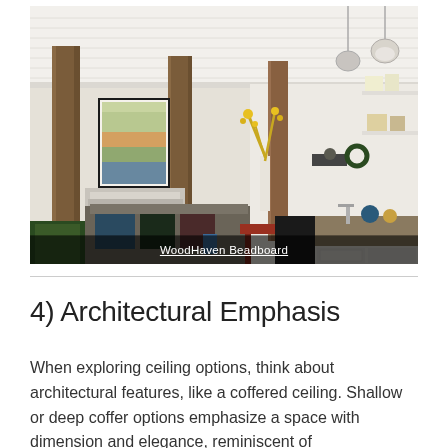[Figure (photo): Interior photo showing an open-plan living/dining/kitchen area with a white beadboard ceiling, wood columns, framed artwork on the wall, a sofa with cushions, a dining table with chairs, yellow flowering branches in a vase, and a kitchen with open shelving and pendant lights. Caption overlay reads 'WoodHaven Beadboard'.]
WoodHaven Beadboard
4) Architectural Emphasis
When exploring ceiling options, think about architectural features, like a coffered ceiling. Shallow or deep coffer options emphasize a space with dimension and elegance, reminiscent of...